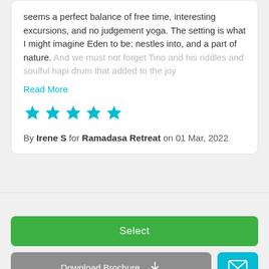seems a perfect balance of free time, interesting excursions, and no judgement yoga. The setting is what I might imagine Eden to be: nestles into, and a part of nature. And we must not forget Tino and his riddles and soulful hapi drum that added to the joy
Read More
[Figure (other): Five filled cyan/teal star rating icons]
By Irene S for Ramadasa Retreat on 01 Mar, 2022
Select
Download Brochure